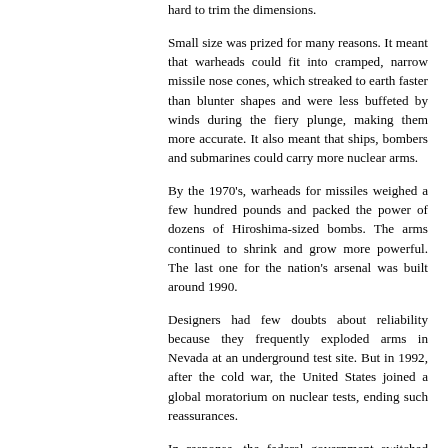hard to trim the dimensions.
Small size was prized for many reasons. It meant that warheads could fit into cramped, narrow missile nose cones, which streaked to earth faster than blunter shapes and were less buffeted by winds during the fiery plunge, making them more accurate. It also meant that ships, bombers and submarines could carry more nuclear arms.
By the 1970's, warheads for missiles weighed a few hundred pounds and packed the power of dozens of Hiroshima-sized bombs. The arms continued to shrink and grow more powerful. The last one for the nation's arsenal was built around 1990.
Designers had few doubts about reliability because they frequently exploded arms in Nevada at an underground test site. But in 1992, after the cold war, the United States joined a global moratorium on nuclear tests, ending such reassurances.
In response, the federal government switched from developing nuclear arms to maintaining them. It had its designers work on computer simulations and other advanced techniques to check potency and understand flaws that might arise.
The cost of the nuclear program began at $4 billion a year. It is now more than $6 billion and includes a growing number of efforts to refurbish and extend